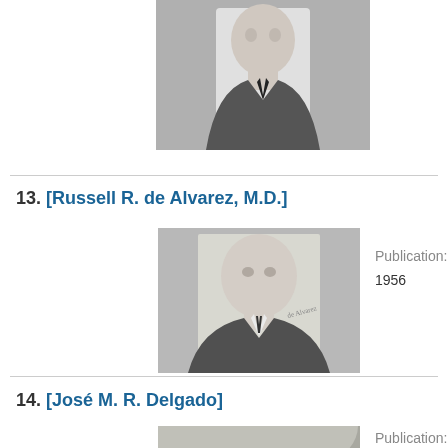[Figure (photo): Black and white portrait photo of a man in a suit and tie, partially cropped at top of page]
13. [Russell R. de Alvarez, M.D.]
[Figure (photo): Black and white portrait photo of Russell R. de Alvarez, M.D., a man in a suit]
Publication:
1956
14. [José M. R. Delgado]
[Figure (photo): Black and white photo of José M. R. Delgado, partially visible at bottom of page]
Publication:
1956